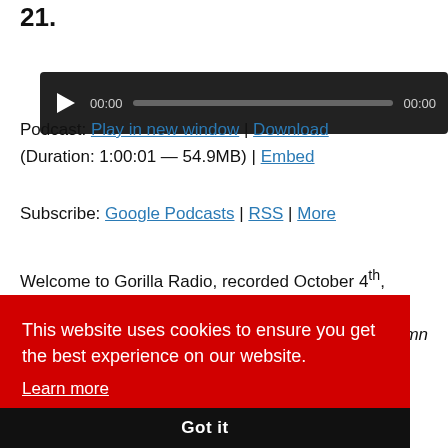21.
[Figure (screenshot): Audio player widget with dark background, play button, time display showing 00:00 on both sides, and a progress bar.]
Podcast: Play in new window | Download
(Duration: 1:00:01 — 54.9MB) | Embed
Subscribe: Google Podcasts | RSS | More
Welcome to Gorilla Radio, recorded October 4th,
This website uses cookies to ensure you get the best experience on our website.
Learn more
Got it
mn